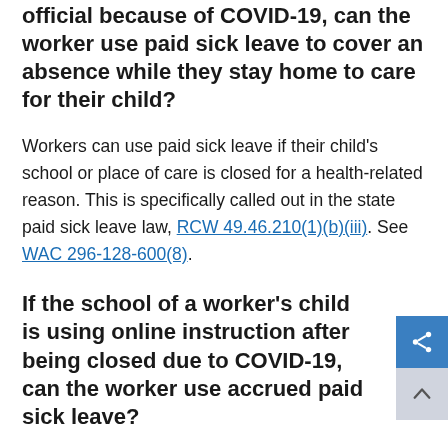official because of COVID-19, can the worker use paid sick leave to cover an absence while they stay home to care for their child?
Workers can use paid sick leave if their child's school or place of care is closed for a health-related reason. This is specifically called out in the state paid sick leave law, RCW 49.46.210(1)(b)(iii). See WAC 296-128-600(8).
If the school of a worker's child is using online instruction after being closed due to COVID-19, can the worker use accrued paid sick leave?
Workers can use paid sick leave if their child's school...